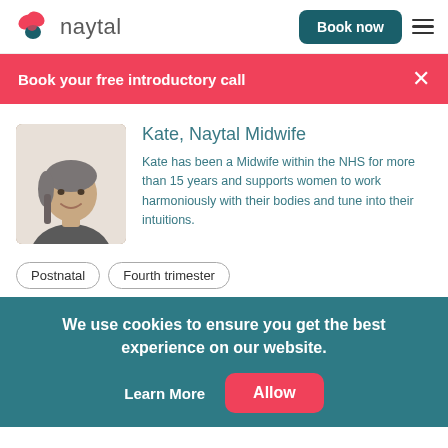naytal — Book now
Book your free introductory call
Kate, Naytal Midwife
Kate has been a Midwife within the NHS for more than 15 years and supports women to work harmoniously with their bodies and tune into their intuitions.
Postnatal
Fourth trimester
We use cookies to ensure you get the best experience on our website.
Learn More
Allow